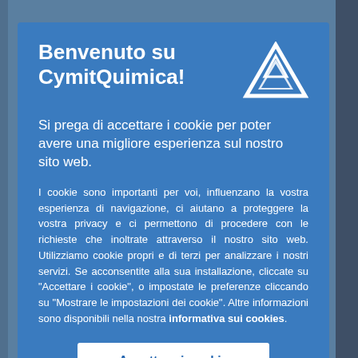Benvenuto su CymitQuimica!
Si prega di accettare i cookie per poter avere una migliore esperienza sul nostro sito web.
I cookie sono importanti per voi, influenzano la vostra esperienza di navigazione, ci aiutano a proteggere la vostra privacy e ci permettono di procedere con le richieste che inoltrate attraverso il nostro sito web. Utilizziamo cookie propri e di terzi per analizzare i nostri servizi. Se acconsentite alla sua installazione, cliccate su "Accettare i cookie", o impostate le preferenze cliccando su "Mostrare le impostazioni dei cookie". Altre informazioni sono disponibili nella nostra informativa sui cookies.